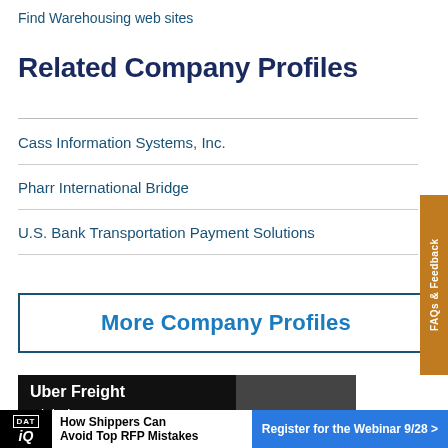Find Warehousing web sites
Related Company Profiles
Cass Information Systems, Inc.
Pharr International Bridge
U.S. Bank Transportation Payment Solutions
More Company Profiles
[Figure (photo): Uber Freight advertisement with text 'Uber Freight Global support.' and a person in the background]
[Figure (infographic): DAT IQ bottom banner: 'How Shippers Can Avoid Top RFP Mistakes' with 'Register for the Webinar 9/28 >' button]